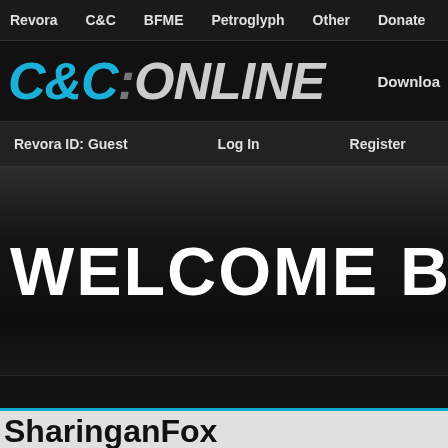Revora  C&C  BFME  Petroglyph  Other  Donate
[Figure (logo): C&C:ONLINE logo in blue and grey italic bold text with Download link on the right]
Revora ID: Guest  Log In  Register
WELCOME BAC
SharinganFox